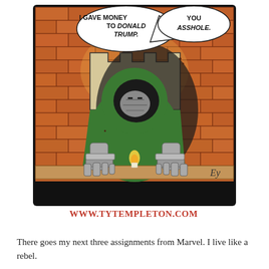[Figure (illustration): Comic panel illustration showing a Marvel character Dr. Doom (armored figure in green cloak, metallic hands) sitting at a table with a candle, in front of a brick wall with a castle battlement shape behind. Two speech bubbles: left bubble reads 'I GAVE MONEY TO DONALD TRUMP.' and right bubble reads 'YOU ASSHOLE.' Artist signature 'Ey' in bottom right. Below the panel is the URL www.tytempleton.com in large red bold text.]
There goes my next three assignments from Marvel.  I live like a rebel.